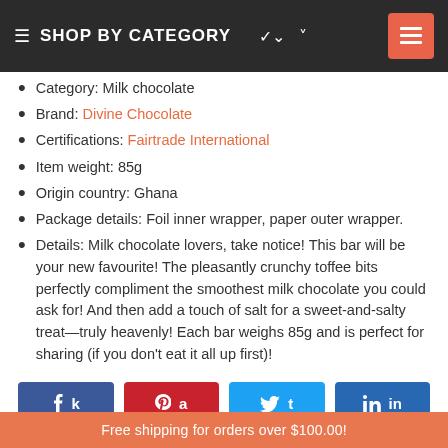SHOP BY CATEGORY
Category: Milk chocolate
Brand: Divine Chocolate
Certifications: Fairtrade International
Item weight: 85g
Origin country: Ghana
Package details: Foil inner wrapper, paper outer wrapper.
Details: Milk chocolate lovers, take notice! This bar will be your new favourite! The pleasantly crunchy toffee bits perfectly compliment the smoothest milk chocolate you could ask for! And then add a touch of salt for a sweet-and-salty treat—truly heavenly! Each bar weighs 85g and is perfect for sharing (if you don't eat it all up first)!
[Figure (infographic): Social share buttons: Facebook (blue), Pinterest (red), Twitter (light blue), LinkedIn (dark blue)]
You may also like
Free shipping for orders over $100.00!